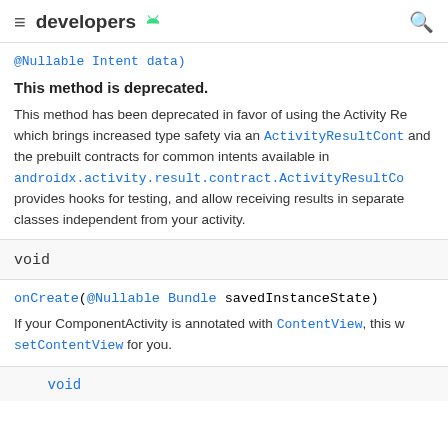developers
@Nullable Intent data)
This method is deprecated.
This method has been deprecated in favor of using the Activity Result API which brings increased type safety via an ActivityResultContract and the prebuilt contracts for common intents available in androidx.activity.result.contract.ActivityResultCo provides hooks for testing, and allow receiving results in separate classes independent from your activity.
void
onCreate(@Nullable Bundle savedInstanceState)
If your ComponentActivity is annotated with ContentView, this will call setContentView for you.